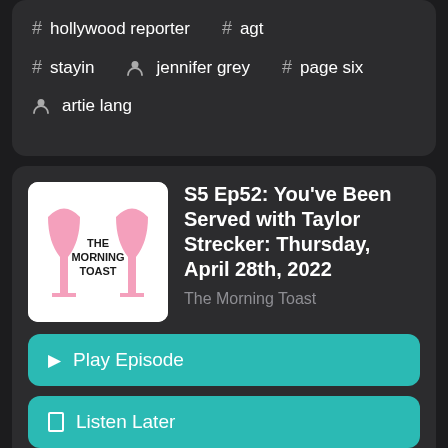# hollywood reporter
# agt
# stayin
person jennifer grey
# page six
person artie lang
[Figure (illustration): The Morning Toast podcast logo: pink champagne glasses with text 'THE MORNING TOAST' on white background]
S5 Ep52: You've Been Served with Taylor Strecker: Thursday, April 28th, 2022
The Morning Toast
Play Episode
Listen Later
Apr 28, 2022
64:34